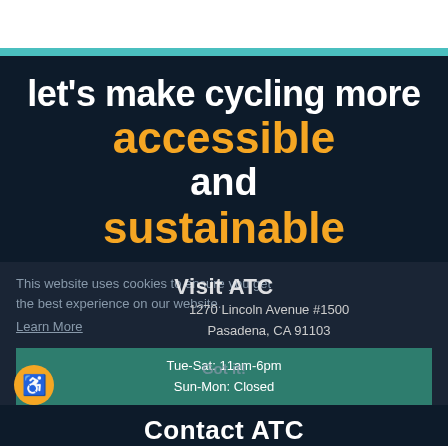let's make cycling more accessible and sustainable
This website uses cookies to ensure you get the best experience on our website.
Learn More
Visit ATC
1270 Lincoln Avenue #1500
Pasadena, CA 91103
Tue-Sat: 11am-6pm
Sun-Mon: Closed
Got it!
Contact ATC